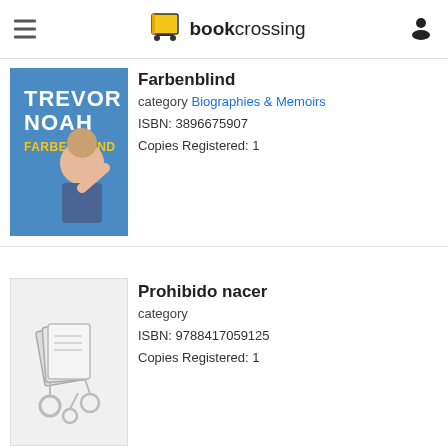bookcrossing
[Figure (photo): Trevor Noah Farbenblind book cover - blue background with Trevor Noah photo]
Farbenblind
category Biographies & Memoirs
ISBN: 3896675907
Copies Registered: 1
[Figure (illustration): Generic book placeholder cover with open book illustration on gray background]
Prohibido nacer
category
ISBN: 9788417059125
Copies Registered: 1